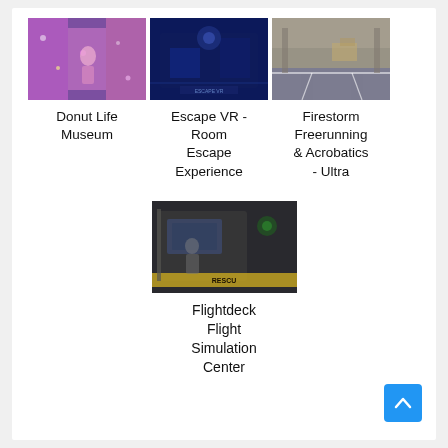[Figure (photo): Colorful photo showing people at what appears to be a decorative, colorful event or museum with purple and pink tones]
Donut Life Museum
[Figure (photo): Dark blue-toned photo of a VR or escape room interior]
Escape VR - Room Escape Experience
[Figure (photo): Indoor photo of a large warehouse-like space with gray floors and lines, for freerunning and acrobatics]
Firestorm Freerunning & Acrobatics - Ultra
[Figure (photo): Dark photo showing a person near a flight simulator cockpit with yellow markings visible]
Flightdeck Flight Simulation Center